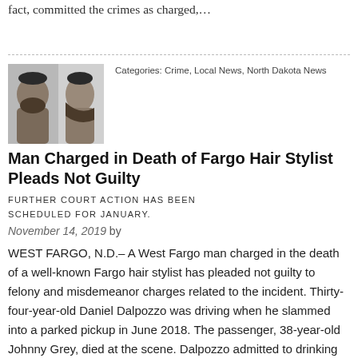fact, committed the crimes as charged,…
[Figure (photo): Mugshot showing front and side profile of a bearded man]
Categories: Crime, Local News, North Dakota News
Man Charged in Death of Fargo Hair Stylist Pleads Not Guilty
FURTHER COURT ACTION HAS BEEN SCHEDULED FOR JANUARY.
November 14, 2019 by
WEST FARGO, N.D.– A West Fargo man charged in the death of a well-known Fargo hair stylist has pleaded not guilty to felony and misdemeanor charges related to the incident. Thirty-four-year-old Daniel Dalpozzo was driving when he slammed into a parked pickup in June 2018. The passenger, 38-year-old Johnny Grey, died at the scene. Dalpozzo admitted to drinking before the